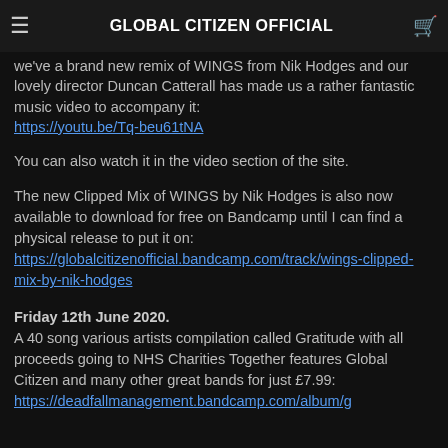GLOBAL CITIZEN OFFICIAL
we've a brand new remix of WINGS from Nik Hodges and our lovely director Duncan Catterall has made us a rather fantastic music video to accompany it: https://youtu.be/Tq-beu61tNA
You can also watch it in the video section of the site.
The new Clipped Mix of WINGS by Nik Hodges is also now available to download for free on Bandcamp until I can find a physical release to put it on: https://globalcitizenofficial.bandcamp.com/track/wings-clipped-mix-by-nik-hodges
Friday 12th June 2020.
A 40 song various artists compilation called Gratitude with all proceeds going to NHS Charities Together features Global Citizen and many other great bands for just £7.99: https://deadfallmanagement.bandcamp.com/album/g